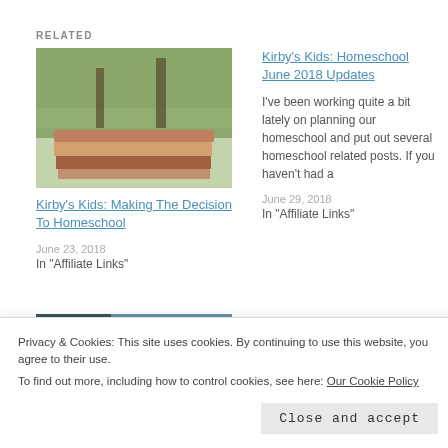RELATED
[Figure (photo): Stack of books on a table near a window with trees visible outside]
Kirby's Kids: Making The Decision To Homeschool
June 23, 2018
In "Affiliate Links"
Kirby's Kids: Homeschool June 2018 Updates
I've been working quite a bit lately on planning our homeschool and put out several homeschool related posts. If you haven't had a
June 29, 2018
In "Affiliate Links"
[Figure (photo): Baby with white bow headband lying down]
Privacy & Cookies: This site uses cookies. By continuing to use this website, you agree to their use. To find out more, including how to control cookies, see here: Our Cookie Policy
Close and accept